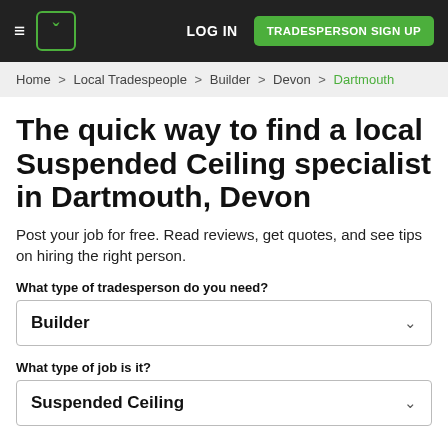LOG IN | TRADESPERSON SIGN UP
Home > Local Tradespeople > Builder > Devon > Dartmouth
The quick way to find a local Suspended Ceiling specialist in Dartmouth, Devon
Post your job for free. Read reviews, get quotes, and see tips on hiring the right person.
What type of tradesperson do you need?
Builder
What type of job is it?
Suspended Ceiling